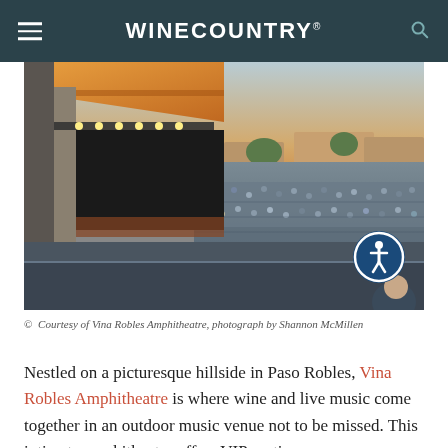WINECOUNTRY®
[Figure (photo): Aerial view of a packed outdoor amphitheater concert at dusk, showing a large illuminated stage on the left with orange canopy and crowds filling the hillside seating area, with trees and buildings visible in the background under a twilight sky. An accessibility icon badge is visible in the lower right corner of the image.]
© Courtesy of Vina Robles Amphitheatre, photograph by Shannon McMillen
Nestled on a picturesque hillside in Paso Robles, Vina Robles Amphitheatre is where wine and live music come together in an outdoor music venue not to be missed. This intimate amphitheatre offers VIP seating